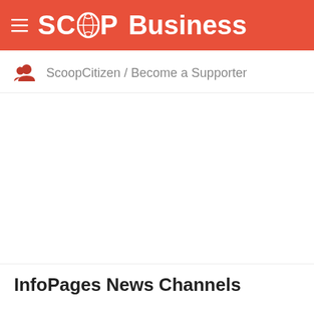SCOOP Business
ScoopCitizen / Become a Supporter
InfoPages News Channels